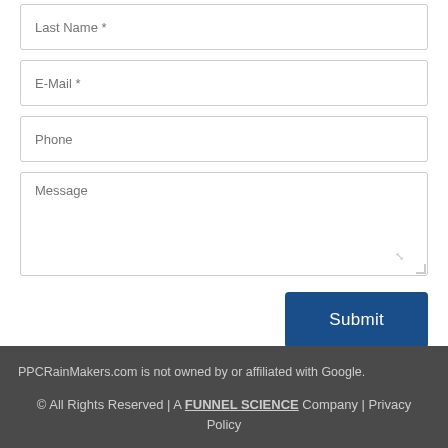Last Name *
E-Mail *
Phone
Message
Submit
PPCRainMakers.com is not owned by or affiliated with Google.
© All Rights Reserved | A FUNNEL SCIENCE Company | Privacy Policy